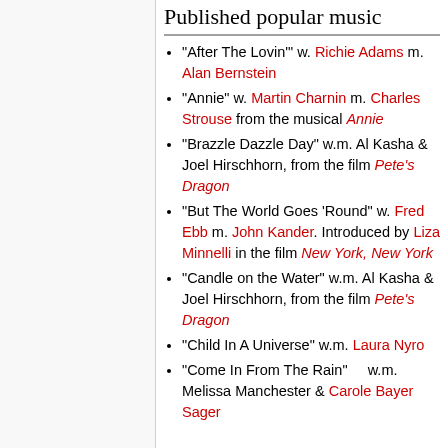Published popular music
"After The Lovin'" w. Richie Adams m. Alan Bernstein
"Annie" w. Martin Charnin m. Charles Strouse from the musical Annie
"Brazzle Dazzle Day" w.m. Al Kasha & Joel Hirschhorn, from the film Pete's Dragon
"But The World Goes 'Round" w. Fred Ebb m. John Kander. Introduced by Liza Minnelli in the film New York, New York
"Candle on the Water" w.m. Al Kasha & Joel Hirschhorn, from the film Pete's Dragon
"Child In A Universe" w.m. Laura Nyro
"Come In From The Rain" w.m. Melissa Manchester & Carole Bayer Sager